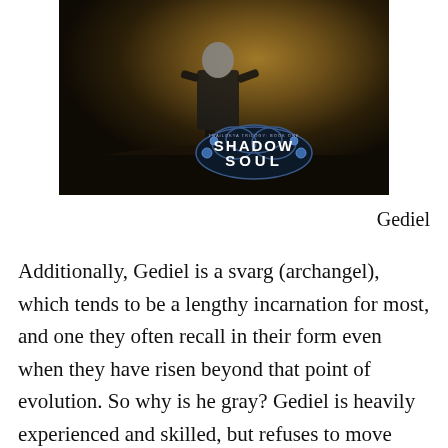[Figure (illustration): Book cover art for 'Shadow Soul' (Trailokya Trilogy Book One) showing a dark figure in a suit standing against a dramatic golden and dark sky background, with a stylized cloud-shaped logo badge reading 'SHADOW SOUL' with blue gem decorations]
Gediel
Additionally, Gediel is a svarg (archangel), which tends to be a lengthy incarnation for most, and one they often recall in their form even when they have risen beyond that point of evolution. So why is he gray? Gediel is heavily experienced and skilled, but refuses to move beyond the incarnation he is at. There are multiple levels to this, and you'll have to read the book to hear more about it.